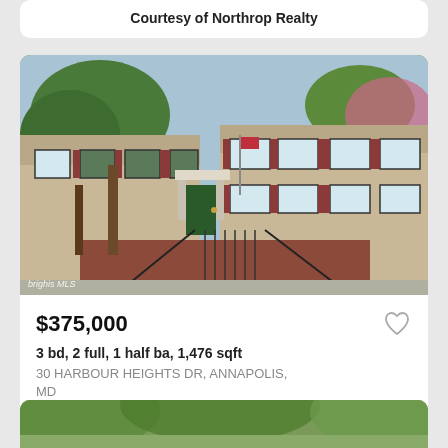Courtesy of Northrop Realty
[Figure (photo): Exterior photo of a brick and siding townhouse/condo building with trees, black iron railings, and staircase entrance]
$375,000
3 bd, 2 full, 1 half ba, 1,476 sqft
30 HARBOUR HEIGHTS DR, ANNAPOLIS, MD
Courtesy of Keller Williams Realty C...
[Figure (photo): Partial exterior photo of a house with trees visible at bottom of page]